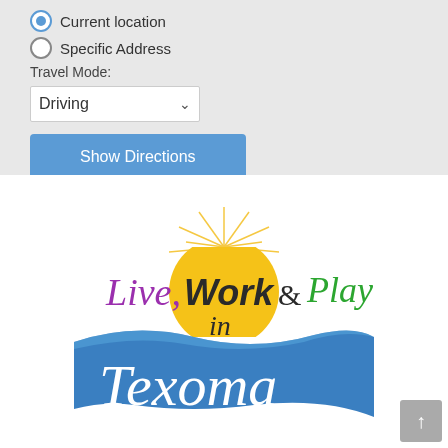Current location (selected radio button)
Specific Address
Travel Mode:
Driving (dropdown)
Show Directions
[Figure (logo): Live, Work & Play in Texoma logo — cursive purple 'Live,', bold dark 'Work', dark '&', green cursive 'Play', cursive italic dark 'in', large white cursive 'Texoma' on blue wave, with yellow sun rising behind.]